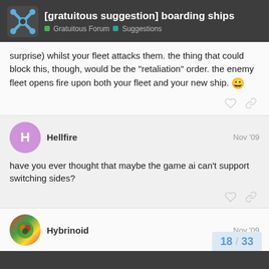[gratuitous suggestion] boarding ships — Gratuitous Forum > Suggestions
surprise) whilst your fleet attacks them. the thing that could block this, though, would be the “retaliation” order. the enemy fleet opens fire upon both your fleet and your new ship. 😀
Hellfire — Nov '09
have you ever thought that maybe the game ai can't support switching sides?
Hybrinoid — Nov '09